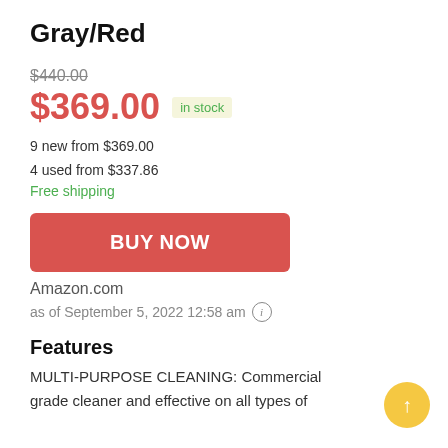Gray/Red
$440.00
$369.00  in stock
9 new from $369.00
4 used from $337.86
Free shipping
BUY NOW
Amazon.com
as of September 5, 2022 12:58 am ⓘ
Features
MULTI-PURPOSE CLEANING: Commercial grade cleaner and effective on all types of